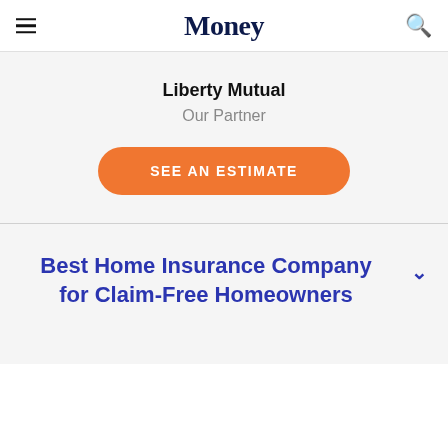Money
Liberty Mutual
Our Partner
SEE AN ESTIMATE
Best Home Insurance Company for Claim-Free Homeowners